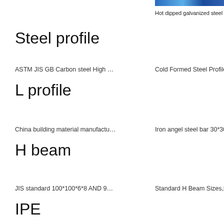[Figure (photo): Hot dipped galvanized steel sheet product image thumbnail]
Hot dipped galvanized steel sheet...
Steel profile
ASTM JIS GB Carbon steel High …
Cold Formed Steel Profile C Chan…
L profile
China building material manufactu…
Iron angel steel bar 30*30*3mm st…
H beam
JIS standard 100*100*6*8 AND 9…
Standard H Beam Sizes,H Beam …
IPE
GB standard Q345 steel IPE 140 …
Steel i beam price 1.steel grade:Q…
C profile